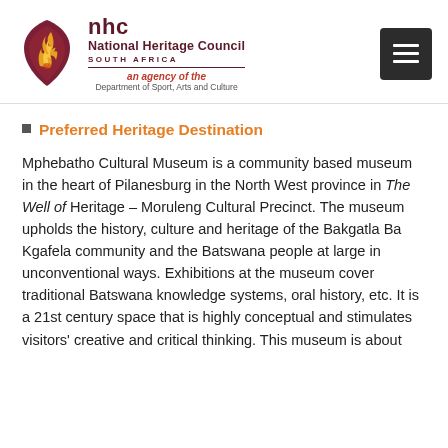[Figure (logo): National Heritage Council South Africa logo with flame icon and text. nhc / National Heritage Council / SOUTH AFRICA / an agency of the / Department of Sport, Arts and Culture]
Preferred Heritage Destination
Mphebatho Cultural Museum is a community based museum in the heart of Pilanesburg in the North West province in The Well of Heritage – Moruleng Cultural Precinct. The museum upholds the history, culture and heritage of the Bakgatla Ba Kgafela community and the Batswana people at large in unconventional ways. Exhibitions at the museum cover traditional Batswana knowledge systems, oral history, etc. It is a 21st century space that is highly conceptual and stimulates visitors' creative and critical thinking. This museum is about